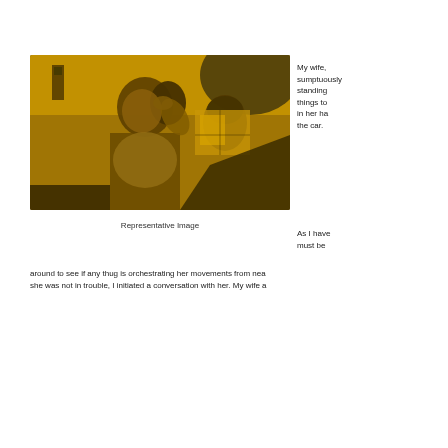[Figure (photo): A young girl standing near a car window, smiling, with items in her hand. The photo has a golden/yellow tone overlay. Another person is visible in the background holding items.]
Representative Image
My wife, sumptuously standing things to in her ha the car.
As I have must be around to see if any thug is orchestrating her movements from nea she was not in trouble, I initiated a conversation with her. My wife a